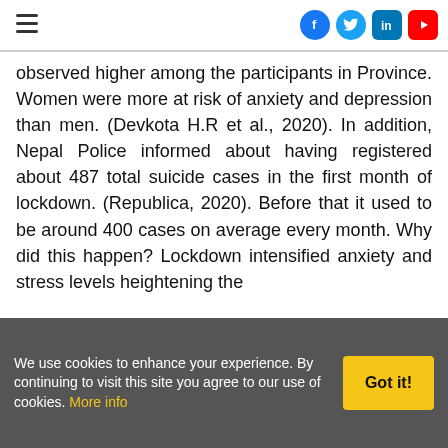[navigation bar with hamburger menu and social media icons: Facebook, Twitter, LinkedIn, YouTube]
observed higher among the participants in Province. Women were more at risk of anxiety and depression than men. (Devkota H.R et al., 2020). In addition, Nepal Police informed about having registered about 487 total suicide cases in the first month of lockdown. (Republica, 2020). Before that it used to be around 400 cases on average every month. Why did this happen? Lockdown intensified anxiety and stress levels heightening the
We use cookies to enhance your experience. By continuing to visit this site you agree to our use of cookies. More info
Got it!